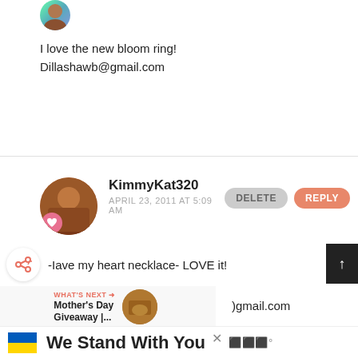[Figure (photo): Small circular avatar photo of a person, partially visible at top]
I love the new bloom ring!
Dillashawb@gmail.com
KimmyKat320
APRIL 23, 2011 AT 5:09 AM
-Iave my heart necklace- LOVE it!
)gmail.com
[Figure (screenshot): What's Next navigation bar showing Mother's Day Giveaway link with thumbnail]
[Figure (screenshot): Advertisement banner: We Stand With You with Ukrainian flag colors]